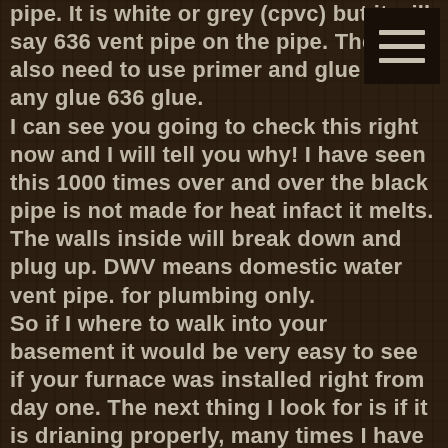pipe. It is white or grey (cpvc) but it will say 636 vent pipe on the pipe. They also need to use primer and glue not any glue 636 glue. I can see you going to check this right now and I will tell you why! I have seen this 1000 times over and over the black pipe is not made for heat infact it melts. The walls inside will break down and plug up. DWV means domestic water vent pipe. for plumbing only. So if I where to walk into your basement it would be very easy to see if your furnace was installed right from day one. The next thing I look for is if it is drianing properly, many times I have found that the right slope was not put into the furnace for it to drian propely causing the condensation to back up into the furnace. Most cases this will cause the secoundary heat exchanger to get plugged up after to many of years running this way. So other things I seen is units are oversized or people have a 2 stage furnace when they only need a single stage. A great example of this is an older home that is around 1000 sq/ft putting in a